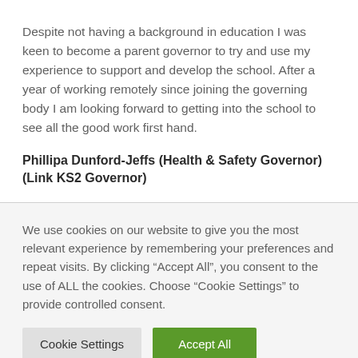Despite not having a background in education I was keen to become a parent governor to try and use my experience to support and develop the school. After a year of working remotely since joining the governing body I am looking forward to getting into the school to see all the good work first hand.
Phillipa Dunford-Jeffs (Health & Safety Governor) (Link KS2 Governor)
We use cookies on our website to give you the most relevant experience by remembering your preferences and repeat visits. By clicking "Accept All", you consent to the use of ALL the cookies. Choose "Cookie Settings" to provide controlled consent.